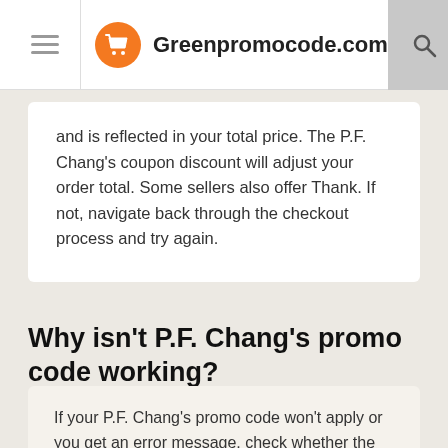Greenpromocode.com
and is reflected in your total price. The P.F. Chang's coupon discount will adjust your order total. Some sellers also offer Thank. If not, navigate back through the checkout process and try again.
Why isn't P.F. Chang's promo code working?
If your P.F. Chang's promo code won't apply or you get an error message, check whether the following applies to you: